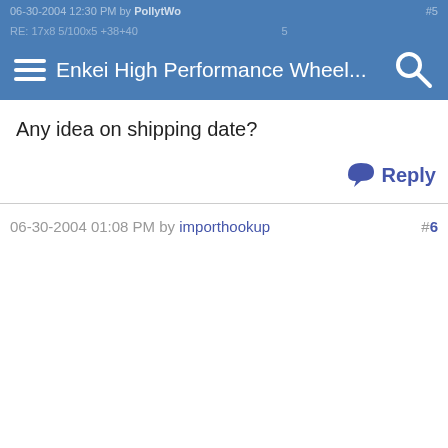Enkei High Performance Wheel...
Any idea on shipping date?
Reply
06-30-2004 01:08 PM by importhookup #6